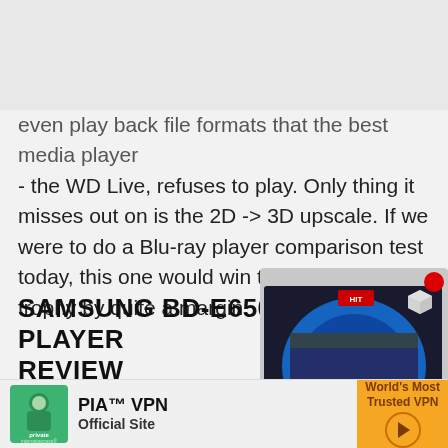SAMSUNG BD-E6500 BLU-RAY PLAYER
even play back file formats that the best media player - the WD Live, refuses to play. Only thing it misses out on is the 2D -> 3D upscale. If we were to do a Blu-ray player comparison test today, this one would win the performance trophy by quite a margin.
[Figure (photo): Product image of Samsung BD-E6500 Blu-ray Player box with price tag ₹1,33,689.99]
SAMSUNG BD-E6500 BLU-RAY PLAYER REVIEW
It is easy to assume that all Blu-ray players perform the sa... und is
[Figure (infographic): PIA VPN advertisement banner - PIA™ VPN Official Site, World's Most Trusted VPN]